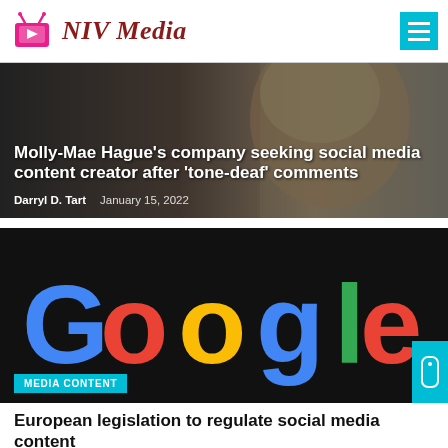NIV Media
[Figure (photo): Woman with blonde hair, article hero image with dark overlay. Headline: Molly-Mae Hague's company seeking social media content creator after 'tone-deaf' comments. Author: Darryl D. Tart, Date: January 15, 2022]
[Figure (photo): Google logo in colorful letters on dark background]
MEDIA CONTENT
European legislation to regulate social media content